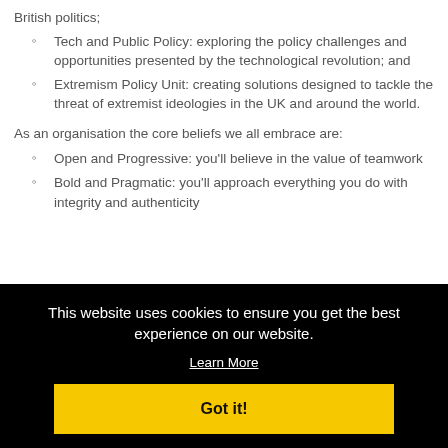British politics;
Tech and Public Policy: exploring the policy challenges and opportunities presented by the technological revolution; and
Extremism Policy Unit: creating solutions designed to tackle the threat of extremist ideologies in the UK and around the world.
As an organisation the core beliefs we all embrace are:
Open and Progressive: you'll believe in the value of teamwork
Bold and Pragmatic: you'll approach everything you do with integrity and authenticity
This website uses cookies to ensure you get the best experience on our website.
Learn More
Got it!